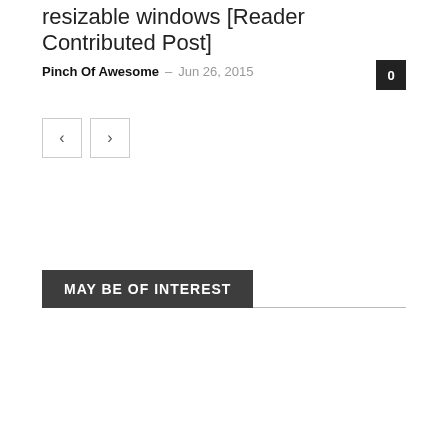resizable windows [Reader Contributed Post]
Pinch Of Awesome – Jun 26, 2015
MAY BE OF INTEREST